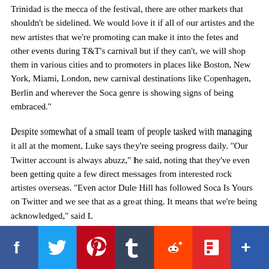Trinidad is the mecca of the festival, there are other markets that shouldn't be sidelined. We would love it if all of our artistes and the new artistes that we're promoting can make it into the fetes and other events during T&T's carnival but if they can't, we will shop them in various cities and to promoters in places like Boston, New York, Miami, London, new carnival destinations like Copenhagen, Berlin and wherever the Soca genre is showing signs of being embraced."
Despite somewhat of a small team of people tasked with managing it all at the moment, Luke says they're seeing progress daily. “Our Twitter account is always abuzz,” he said, noting that they've even been getting quite a few direct messages from interested rock artistes overseas. “Even actor Dule Hill has followed Soca Is Yours on Twitter and we see that as a great thing. It means that we're being acknowledged,” said L...
[Figure (infographic): Social media share buttons bar at the bottom: Facebook (blue), Twitter (light blue), Pinterest (red), Tumblr (dark navy), Reddit (orange-red), Flipboard (red), More/Share (blue)]